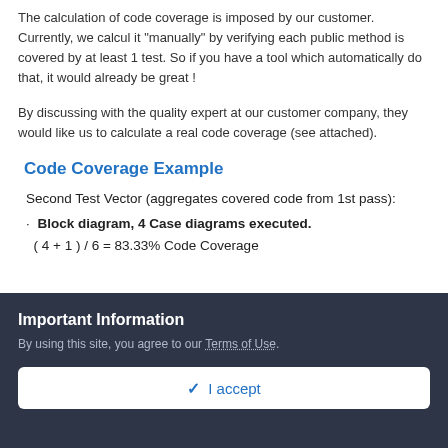The calculation of code coverage is imposed by our customer. Currently, we calcul it "manually" by verifying each public method is covered by at least 1 test. So if you have a tool which automatically do that, it would already be great !
By discussing with the quality expert at our customer company, they would like us to calculate a real code coverage (see attached).
Code Coverage Example
Second Test Vector (aggregates covered code from 1st pass):
Block diagram, 4 Case diagrams executed.
( 4 + 1 ) / 6 = 83.33% Code Coverage
Important Information
By using this site, you agree to our Terms of Use.
✓  I accept